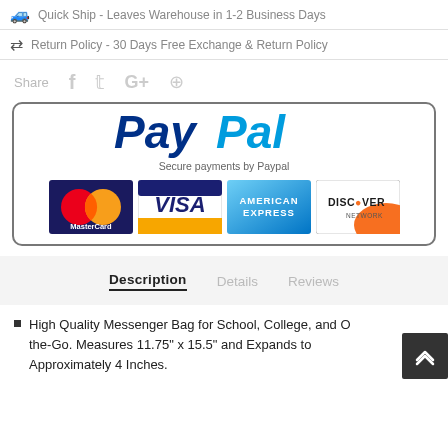Quick Ship – Leaves Warehouse in 1–2 Business Days
Return Policy - 30 Days Free Exchange & Return Policy
Share
[Figure (logo): PayPal secure payments box with MasterCard, VISA, American Express, and Discover card logos]
Description | Details | Reviews (tabs)
High Quality Messenger Bag for School, College, and On-the-Go. Measures 11.75" x 15.5" and Expands to Approximately 4 Inches.